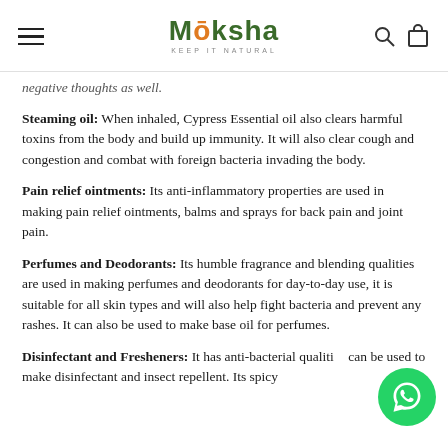Moksha — KEEP IT NATURAL
negative thoughts as well.
Steaming oil: When inhaled, Cypress Essential oil also clears harmful toxins from the body and build up immunity. It will also clear cough and congestion and combat with foreign bacteria invading the body.
Pain relief ointments: Its anti-inflammatory properties are used in making pain relief ointments, balms and sprays for back pain and joint pain.
Perfumes and Deodorants: Its humble fragrance and blending qualities are used in making perfumes and deodorants for day-to-day use, it is suitable for all skin types and will also help fight bacteria and prevent any rashes. It can also be used to make base oil for perfumes.
Disinfectant and Fresheners: It has anti-bacterial qualities can be used to make disinfectant and insect repellent. Its spicy...